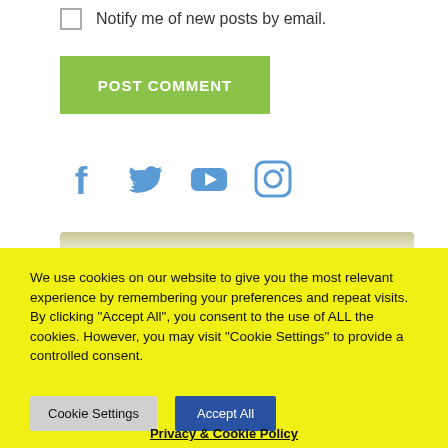Notify me of new posts by email.
POST COMMENT
[Figure (illustration): Social media icons: Facebook, Twitter, YouTube, Instagram in blue color]
[Figure (photo): Partial image strip visible at top of cookie banner area]
We use cookies on our website to give you the most relevant experience by remembering your preferences and repeat visits. By clicking “Accept All”, you consent to the use of ALL the cookies. However, you may visit "Cookie Settings" to provide a controlled consent.
Cookie Settings
Accept All
Privacy & Cookie Policy